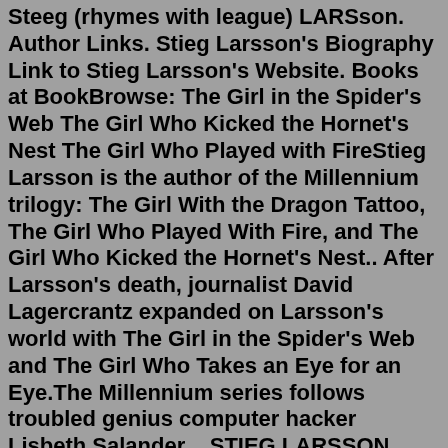Steeg (rhymes with league) LARSson. Author Links. Stieg Larsson's Biography Link to Stieg Larsson's Website. Books at BookBrowse: The Girl in the Spider's Web The Girl Who Kicked the Hornet's Nest The Girl Who Played with FireStieg Larsson is the author of the Millennium trilogy: The Girl With the Dragon Tattoo, The Girl Who Played With Fire, and The Girl Who Kicked the Hornet's Nest.. After Larsson's death, journalist David Lagercrantz expanded on Larsson's world with The Girl in the Spider's Web and The Girl Who Takes an Eye for an Eye.The Millennium series follows troubled genius computer hacker Lisbeth Salander ...STIEG LARSSON WAS born in 1954 in Skelleftehamn, in what is known as Norrland, the northernmost part of Sweden. He mostly grew up in Umea, a town that is about 400 miles north of Stockholm but ...Aug 19, 2022 · THE MOVIES. Claire Foy is officially the new Girl With the Dragon Tattoo. Michael Nyqvist dies aged 56. The Movies. Rooney Mara praised as Lisbeth Salander. Daniel Craig as Mikael Blomkvist. David